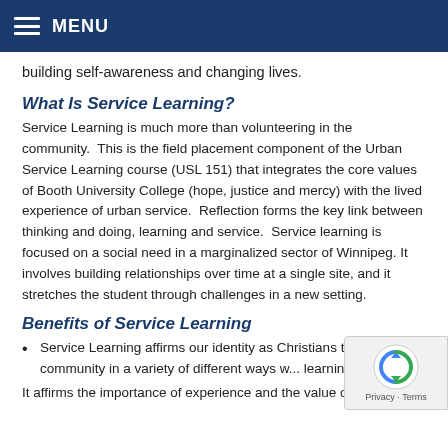MENU
building self-awareness and changing lives.
What Is Service Learning?
Service Learning is much more than volunteering in the community.  This is the field placement component of the Urban Service Learning course (USL 151) that integrates the core values of Booth University College (hope, justice and mercy) with the lived experience of urban service.  Reflection forms the key link between thinking and doing, learning and service.  Service learning is focused on a social need in a marginalized sector of Winnipeg. It involves building relationships over time at a single site, and it stretches the student through challenges in a new setting.
Benefits of Service Learning
Service Learning affirms our identity as Christians to serve the community in a variety of different ways w... learning.
It affirms the importance of experience and the value of